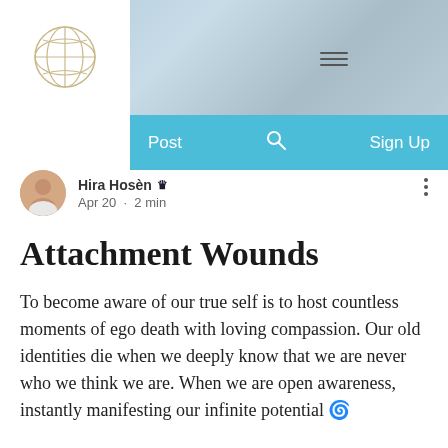[Figure (screenshot): Website header with logo globe icon on white background, blurred ocean/water background image, hamburger menu and bag icon visible]
Post   🔍   Sign Up
Hira Hosèn 👑
Apr 20 · 2 min
Attachment Wounds
To become aware of our true self is to host countless moments of ego death with loving compassion. Our old identities die when we deeply know that we are never who we think we are. When we are open awareness, instantly manifesting our infinite potential 🌀